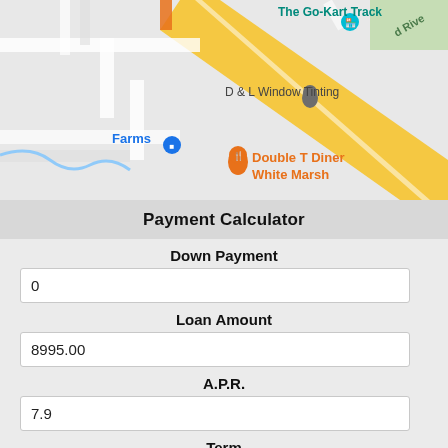[Figure (map): Google Maps screenshot showing local area with The Go-Kart Track, D & L Window Tinting, Farms, and Double T Diner White Marsh markers. A yellow diagonal road runs through the map.]
Payment Calculator
Down Payment
0
Loan Amount
8995.00
A.P.R.
7.9
Term
12 Months (1 Year)